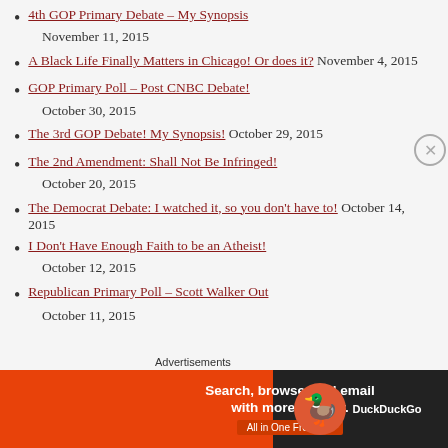4th GOP Primary Debate – My Synopsis November 11, 2015
A Black Life Finally Matters in Chicago! Or does it? November 4, 2015
GOP Primary Poll – Post CNBC Debate! October 30, 2015
The 3rd GOP Debate! My Synopsis! October 29, 2015
The 2nd Amendment: Shall Not Be Infringed! October 20, 2015
The Democrat Debate: I watched it, so you don't have to! October 14, 2015
I Don't Have Enough Faith to be an Atheist! October 12, 2015
Republican Primary Poll – Scott Walker Out October 11, 2015
Advertisements
[Figure (screenshot): DuckDuckGo advertisement banner: 'Search, browse, and email with more privacy. All in One Free App' with DuckDuckGo logo on dark background]